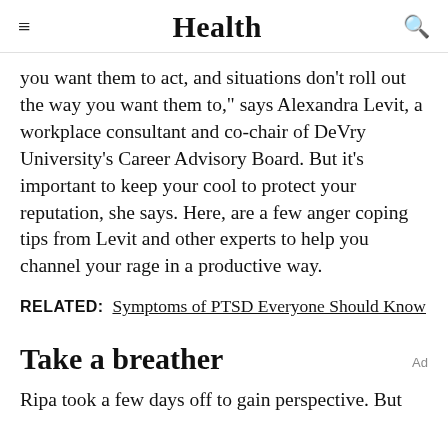Health
you want them to act, and situations don't roll out the way you want them to," says Alexandra Levit, a workplace consultant and co-chair of DeVry University's Career Advisory Board. But it's important to keep your cool to protect your reputation, she says. Here, are a few anger coping tips from Levit and other experts to help you channel your rage in a productive way.
RELATED: Symptoms of PTSD Everyone Should Know
Take a breather
Ripa took a few days off to gain perspective. But